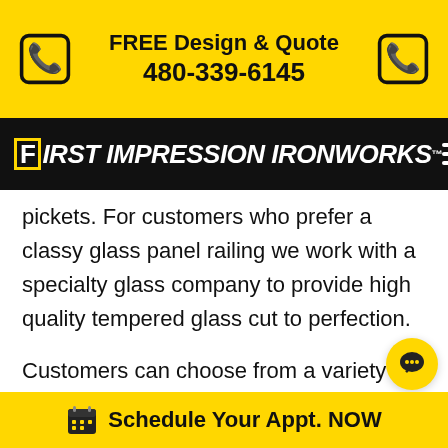FREE Design & Quote 480-339-6145
First Impression Ironworks™
pickets. For customers who prefer a classy glass panel railing we work with a specialty glass company to provide high quality tempered glass cut to perfection.
Customers can choose from a variety of designs made to match our existing door and railing offerings, or can create a custom pattern to complement any existing décor. Spiral staircases can be installed inside or outside and crane service
Schedule Your Appt. NOW